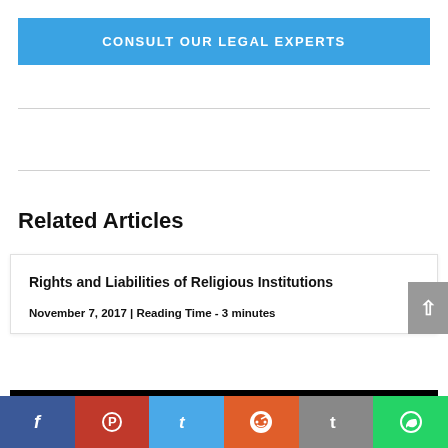CONSULT OUR LEGAL EXPERTS
Related Articles
Rights and Liabilities of Religious Institutions
November 7, 2017 | Reading Time - 3 minutes
[Figure (other): Partial view of a second article card image (dark/black background) at the bottom of the page]
[Figure (other): Social media share bar with Facebook, Pinterest, Twitter, Reddit, Tumblr, and WhatsApp buttons]